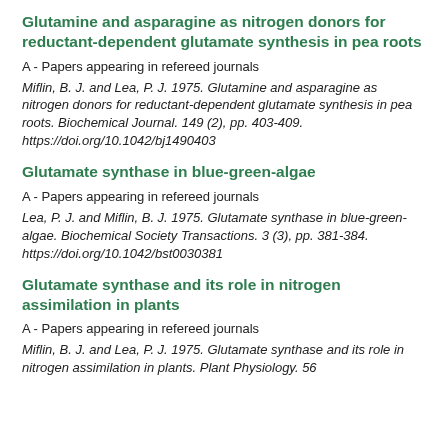Glutamine and asparagine as nitrogen donors for reductant-dependent glutamate synthesis in pea roots
A - Papers appearing in refereed journals
Miflin, B. J. and Lea, P. J. 1975. Glutamine and asparagine as nitrogen donors for reductant-dependent glutamate synthesis in pea roots. Biochemical Journal. 149 (2), pp. 403-409. https://doi.org/10.1042/bj1490403
Glutamate synthase in blue-green-algae
A - Papers appearing in refereed journals
Lea, P. J. and Miflin, B. J. 1975. Glutamate synthase in blue-green-algae. Biochemical Society Transactions. 3 (3), pp. 381-384. https://doi.org/10.1042/bst0030381
Glutamate synthase and its role in nitrogen assimilation in plants
A - Papers appearing in refereed journals
Miflin, B. J. and Lea, P. J. 1975. Glutamate synthase and its role in nitrogen assimilation in plants. Plant Physiology. 56